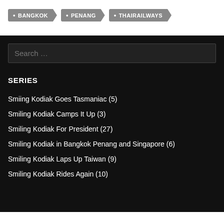BANGKOK
PENANG
THAIRAILWAYS
Search ...
SERIES
Smiing Kodiak Goes Tasmaniac (5)
Smiling Kodiak Camps It Up (3)
Smiling Kodiak For President (27)
Smiling Kodiak in Bangkok Penang and Singapore (6)
Smiling Kodiak Laps Up Taiwan (9)
Smiling Kodiak Rides Again (10)